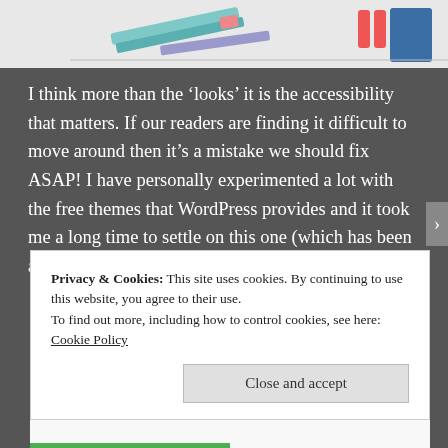[Figure (illustration): Partial illustration at top showing pencils/pens and a person with red pants near a blue rectangle, cropped]
I think more than the 'looks' it is the accessibility that matters. If our readers are finding it difficult to move around then it's a mistake we should fix ASAP! I have personally experimented a lot with the free themes that WordPress provides and it took me a long time to settle on this one (which has been appreciated recently).
Privacy & Cookies: This site uses cookies. By continuing to use this website, you agree to their use.
To find out more, including how to control cookies, see here: Cookie Policy
Close and accept